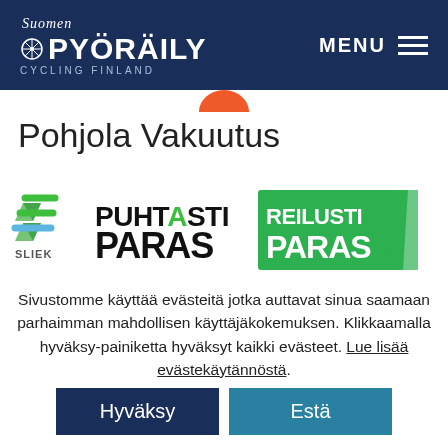Suomen PYÖRÄILY CYCLING FINLAND — MENU
[Figure (logo): Suomen Pyöräily Cycling Finland logo on dark navy header with MENU hamburger icon]
Pohjola Vakuutus
[Figure (logo): SLIEK logo (green chevron marks), PUHTAASTI PARAS text logo, REILUSTI PARAS logo with green badge]
Sivustomme käyttää evästeitä jotka auttavat sinua saamaan parhaimman mahdollisen käyttäjäkokemuksen. Klikkaamalla hyväksy-painiketta hyväksyt kaikki evästeet. Lue lisää evästekäytännöstä.
Hyväksy
Estä